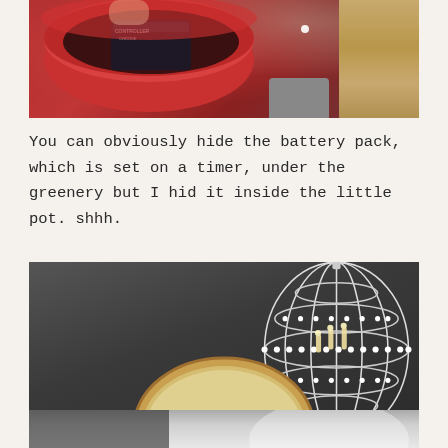[Figure (photo): Top-down view of a red pot/container with a battery pack or box inside, placed on a wooden surface with a grey object nearby.]
You can obviously hide the battery pack, which is set on a timer, under the greenery but I hid it inside the little pot. shhh.
[Figure (photo): Interior room scene with a dark grey wall, a white beaded globe chandelier on the right, and a round gold-framed mirror or plate at the bottom center with greenery and lights inside it.]